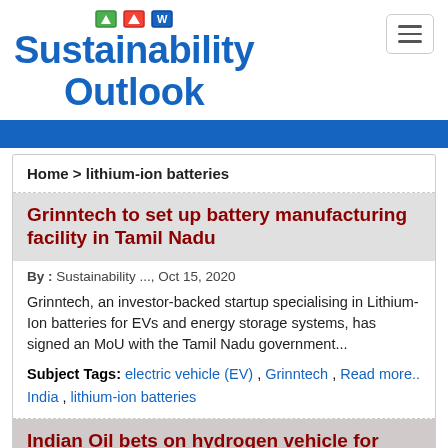Sustainability Outlook
Home > lithium-ion batteries
Grinntech to set up battery manufacturing facility in Tamil Nadu
By : Sustainability ..., Oct 15, 2020
Grinntech, an investor-backed startup specialising in Lithium-Ion batteries for EVs and energy storage systems, has signed an MoU with the Tamil Nadu government...
Subject Tags: electric vehicle (EV) , Grinntech , Read more.. India , lithium-ion batteries
Indian Oil bets on hydrogen vehicle for self-reliant future mobility...